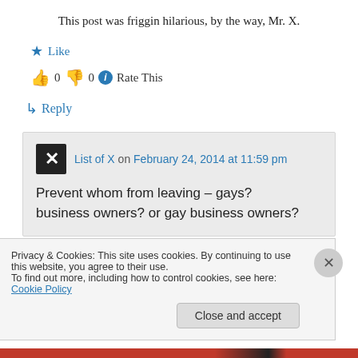This post was friggin hilarious, by the way, Mr. X.
★ Like
👍 0 👎 0 ℹ Rate This
↳ Reply
List of X on February 24, 2014 at 11:59 pm
Prevent whom from leaving – gays? business owners? or gay business owners?
Privacy & Cookies: This site uses cookies. By continuing to use this website, you agree to their use.
To find out more, including how to control cookies, see here: Cookie Policy
Close and accept